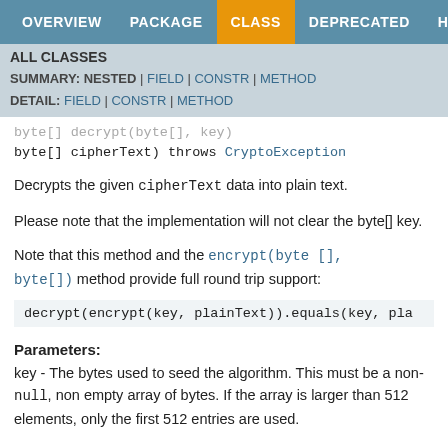OVERVIEW  PACKAGE  CLASS  DEPRECATED  HELP
ALL CLASSES
SUMMARY: NESTED | FIELD | CONSTR | METHOD
DETAIL: FIELD | CONSTR | METHOD
byte[] cipherText) throws CryptoException
Decrypts the given cipherText data into plain text.
Please note that the implementation will not clear the byte[] key.
Note that this method and the encrypt(byte [], byte[]) method provide full round trip support:
decrypt(encrypt(key, plainText)).equals(key, pla
Parameters:
key - The bytes used to seed the algorithm. This must be a non- null, non empty array of bytes. If the array is larger than 512 elements, only the first 512 entries are used.